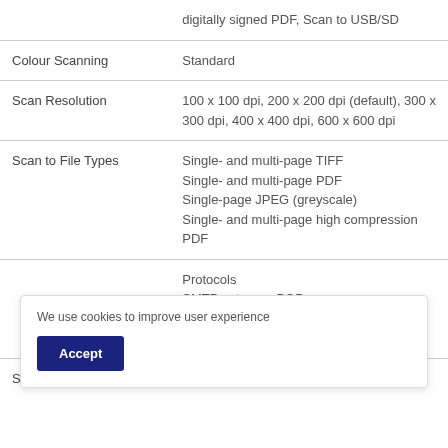| Feature | Details |
| --- | --- |
|  | digitally signed PDF, Scan to USB/SD |
| Colour Scanning | Standard |
| Scan Resolution | 100 x 100 dpi, 200 x 200 dpi (default), 300 x 300 dpi, 400 x 400 dpi, 600 x 600 dpi |
| Scan to File Types | Single- and multi-page TIFF
Single- and multi-page PDF
Single-page JPEG (greyscale)
Single- and multi-page high compression PDF |
|  | Protocols
SMTP gateway, POP
Authentication |
| Scan to Email | 100 x 100 dpi, 200 x 200 dpi (default), |
We use cookies to improve user experience